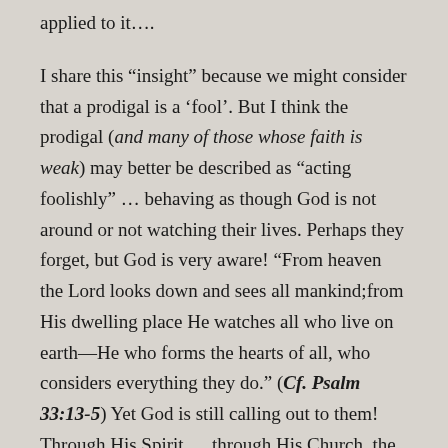applied to it….
I share this “insight” because we might consider that a prodigal is a ‘fool’. But I think the prodigal (and many of those whose faith is weak) may better be described as “acting foolishly” … behaving as though God is not around or not watching their lives. Perhaps they forget, but God is very aware! “From heaven the Lord looks down and sees all mankind;from His dwelling place He watches all who live on earth—He who forms the hearts of all, who considers everything they do.” (Cf. Psalm 33:13-5) Yet God is still calling out to them! Through His Spirit … through His Church, the Lord Jesus is reaching out to the prodigals … to those who are acting foolishly … to those who have turned their hearts away